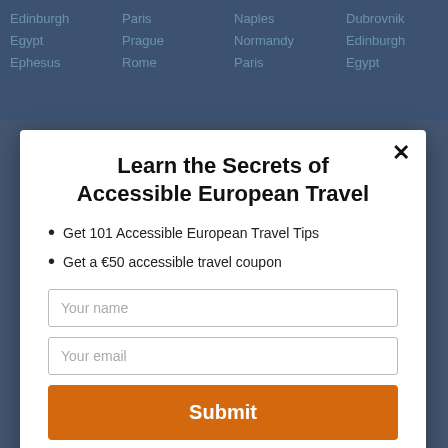Edinburgh Egypt Ephesus | Paris Prague Rome | Naples Normandy Paris | Dubrovnik Edinburgh Egypt
Learn the Secrets of Accessible European Travel
Get 101 Accessible European Travel Tips
Get a €50 accessible travel coupon
Your name
Your email
Submit
powered by MailMunch